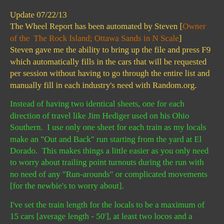Update 07/22/13
The Wheel Report has been automated by Steven [Owner of the The Rock Island; Ottawa Sands in N Scale]
Steven gave me the ability to bring up the file and press F9 which automatically fills in the cars that will be requested per session without having to go through the entire list and manually fill in each industry's need with Random.org.
Instead of having two identical sheets, one for each direction of travel like Jim Hediger used on his Ohio Southern.  I use only one sheet for each train as my locals make an "Out and Back" run starting from the yard at El Dorado.  This makes things a little easier as you only need to worry about trailing point turnouts during the run with no need of any "Run-arounds" or complicated movements [for the newbie's to worry about].
I've set the train length for the locals to be a maximum of 15 cars [average length - 50'], at least two locos and a